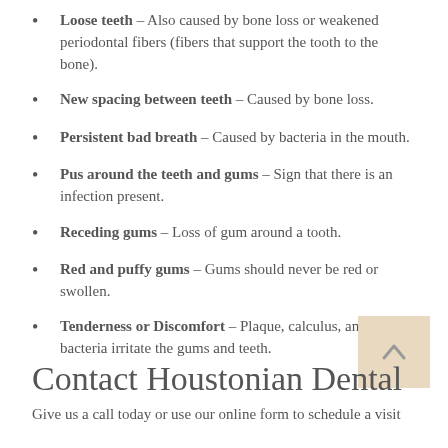Loose teeth – Also caused by bone loss or weakened periodontal fibers (fibers that support the tooth to the bone).
New spacing between teeth – Caused by bone loss.
Persistent bad breath – Caused by bacteria in the mouth.
Pus around the teeth and gums – Sign that there is an infection present.
Receding gums – Loss of gum around a tooth.
Red and puffy gums – Gums should never be red or swollen.
Tenderness or Discomfort – Plaque, calculus, and bacteria irritate the gums and teeth.
Contact Houstonian Dental
Give us a call today or use our online form to schedule a visit